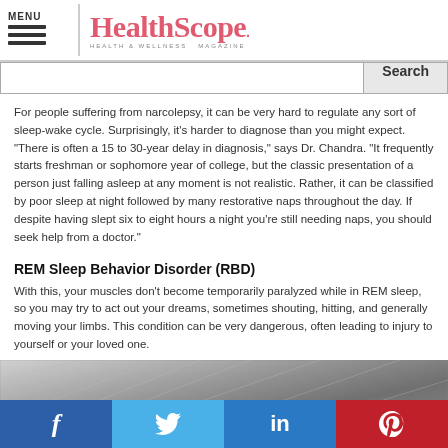HealthScope — Health & Wellness Magazine
For people suffering from narcolepsy, it can be very hard to regulate any sort of sleep-wake cycle. Surprisingly, it's harder to diagnose than you might expect. "There is often a 15 to 30-year delay in diagnosis," says Dr. Chandra. "It frequently starts freshman or sophomore year of college, but the classic presentation of a person just falling asleep at any moment is not realistic. Rather, it can be classified by poor sleep at night followed by many restorative naps throughout the day. If despite having slept six to eight hours a night you're still needing naps, you should seek help from a doctor."
REM Sleep Behavior Disorder (RBD)
With this, your muscles don't become temporarily paralyzed while in REM sleep, so you may try to act out your dreams, sometimes shouting, hitting, and generally moving your limbs. This condition can be very dangerous, often leading to injury to yourself or your loved one.
[Figure (photo): Close-up photo of a knitted/woven blanket or fabric in grey tones, partially on a bed.]
Facebook | Twitter | LinkedIn | Pinterest social share buttons